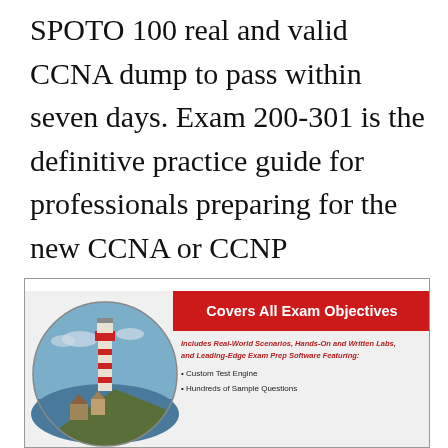SPOTO 100 real and valid CCNA dump to pass within seven days. Exam 200-301 is the definitive practice guide for professionals preparing for the new CCNA or CCNP certifications and for those looking to master the latest technologies in Cisco networking fundamentals.
[Figure (illustration): Book cover showing a lighthouse scene on the left in a circular frame, a red banner reading 'Covers All Exam Objectives', and bullet points listing: Includes Real-World Scenarios, Hands-On and Written Labs, and Leading-Edge Exam Prep Software Featuring: Custom Test Engine, Hundreds of Sample Questions]